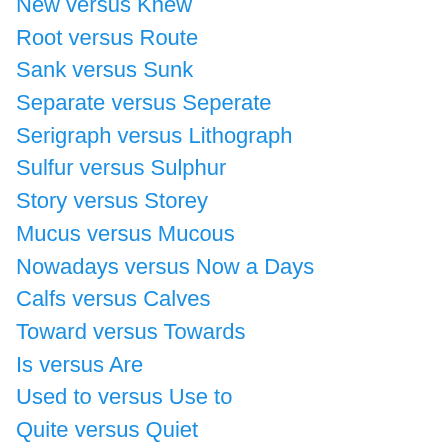New versus Knew
Root versus Route
Sank versus Sunk
Separate versus Seperate
Serigraph versus Lithograph
Sulfur versus Sulphur
Story versus Storey
Mucus versus Mucous
Nowadays versus Now a Days
Calfs versus Calves
Toward versus Towards
Is versus Are
Used to versus Use to
Quite versus Quiet
Mantel versus Mantle